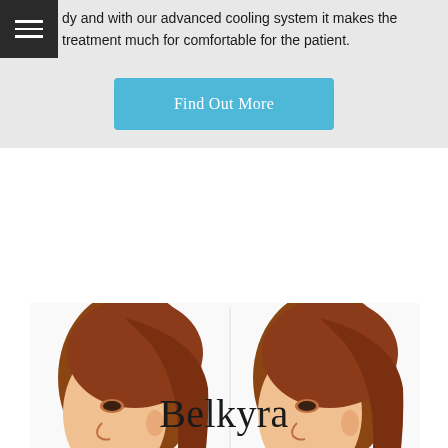dy and with our advanced cooling system it makes the treatment much for comfortable for the patient.
Find Out More
[Figure (photo): Before and after side-profile photos of a woman showing reduction of submental fat (double chin area). Left image labeled 'BEFORE', right image labeled 'AFTER'.]
Belkyra